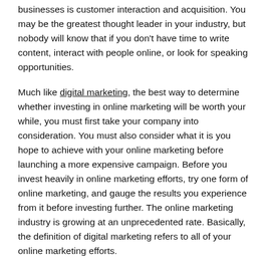businesses is customer interaction and acquisition. You may be the greatest thought leader in your industry, but nobody will know that if you don't have time to write content, interact with people online, or look for speaking opportunities.
Much like digital marketing, the best way to determine whether investing in online marketing will be worth your while, you must first take your company into consideration. You must also consider what it is you hope to achieve with your online marketing before launching a more expensive campaign. Before you invest heavily in online marketing efforts, try one form of online marketing, and gauge the results you experience from it before investing further. The online marketing industry is growing at an unprecedented rate. Basically, the definition of digital marketing refers to all of your online marketing efforts.
How do I start an online marketing business?
Digital marketing provides businesses following